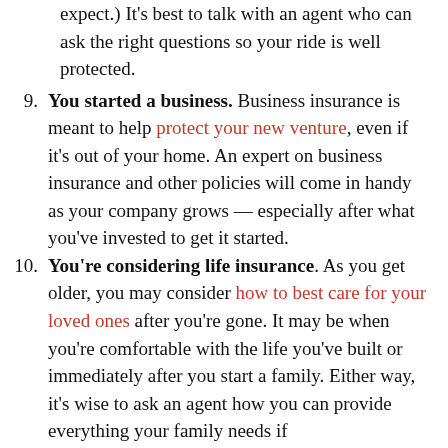(continuation) expect.) It's best to talk with an agent who can ask the right questions so your ride is well protected.
9. You started a business. Business insurance is meant to help protect your new venture, even if it's out of your home. An expert on business insurance and other policies will come in handy as your company grows — especially after what you've invested to get it started.
10. You're considering life insurance. As you get older, you may consider how to best care for your loved ones after you're gone. It may be when you're comfortable with the life you've built or immediately after you start a family. Either way, it's wise to ask an agent how you can provide everything your family needs if